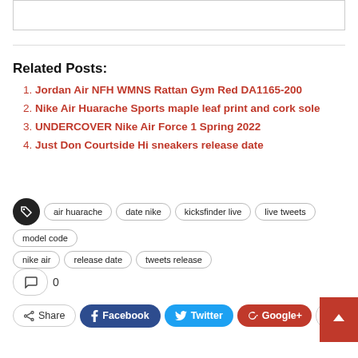Related Posts:
Jordan Air NFH WMNS Rattan Gym Red DA1165-200
Nike Air Huarache Sports maple leaf print and cork sole
UNDERCOVER Nike Air Force 1 Spring 2022
Just Don Courtside Hi sneakers release date
air huarache  date nike  kicksfinder live  live tweets  model code  nike air  release date  tweets release
0
Share  Facebook  Twitter  Google+